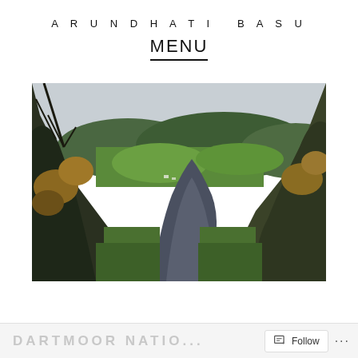ARUNDHATI BASU
MENU
[Figure (photo): A narrow country lane winding through hedgerows and trees, with rolling green hills and fields visible in the background under a pale sky. Autumn foliage visible on shrubs and trees on either side of the road.]
DARTMOOR NATIO... Follow ...